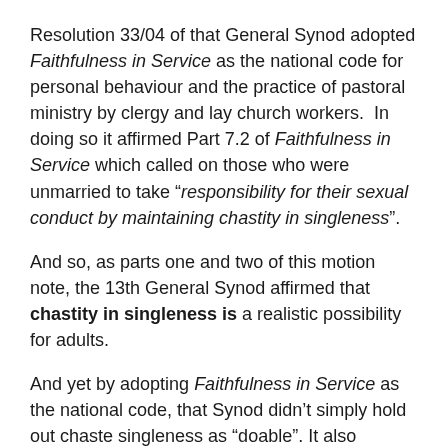Resolution 33/04 of that General Synod adopted Faithfulness in Service as the national code for personal behaviour and the practice of pastoral ministry by clergy and lay church workers.  In doing so it affirmed Part 7.2 of Faithfulness in Service which called on those who were unmarried to take “responsibility for their sexual conduct by maintaining chastity in singleness”.
And so, as parts one and two of this motion note, the 13th General Synod affirmed that chastity in singleness is a realistic possibility for adults.
And yet by adopting Faithfulness in Service as the national code, that Synod didn’t simply hold out chaste singleness as “doable”. It also asserted that it is truly good. How did it do that? Well, directly before the